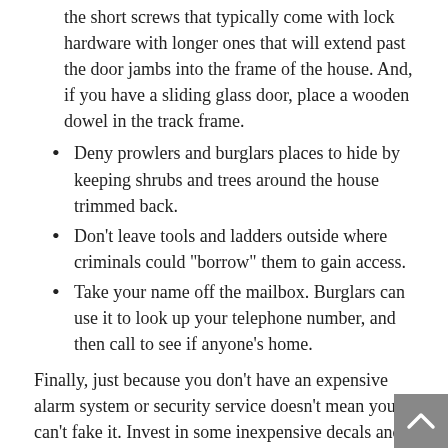the short screws that typically come with lock hardware with longer ones that will extend past the door jambs into the frame of the house. And, if you have a sliding glass door, place a wooden dowel in the track frame.
Deny prowlers and burglars places to hide by keeping shrubs and trees around the house trimmed back.
Don't leave tools and ladders outside where criminals could "borrow" them to gain access.
Take your name off the mailbox. Burglars can use it to look up your telephone number, and then call to see if anyone's home.
Finally, just because you don't have an expensive alarm system or security service doesn't mean you can't fake it. Invest in some inexpensive decals and signage (readily available on the Internet), or even some fake security cameras, and display them prominently. Another option is some kind of "Beware of Dog" sign, even if you don't have a dog.